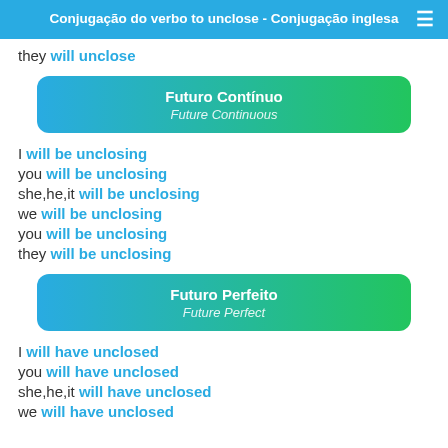Conjugação do verbo to unclose - Conjugação inglesa
they will unclose
Futuro Contínuo
Future Continuous
I will be unclosing
you will be unclosing
she,he,it will be unclosing
we will be unclosing
you will be unclosing
they will be unclosing
Futuro Perfeito
Future Perfect
I will have unclosed
you will have unclosed
she,he,it will have unclosed
we will have unclosed